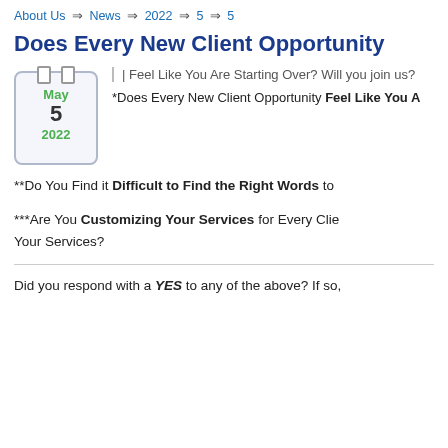About Us => News => 2022 => 5 => 5
Does Every New Client Opportunity
| Feel Like You Are Starting Over? Will you join us?
*Does Every New Client Opportunity Feel Like You A
**Do You Find it Difficult to Find the Right Words to
***Are You Customizing Your Services for Every Clie Your Services?
Did you respond with a YES to any of the above? If so,